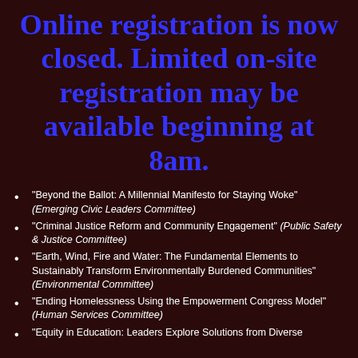Online registration is now closed. Limited on-site registration may be available beginning at 8am.
"Beyond the Ballot: A Millennial Manifesto for Staying Woke" (Emerging Civic Leaders Committee)
"Criminal Justice Reform and Community Engagement" (Public Safety & Justice Committee)
"Earth, Wind, Fire and Water: The Fundamental Elements to Sustainably Transform Environmentally Burdened Communities" (Environmental Committee)
"Ending Homelessness Using the Empowerment Congress Model" (Human Services Committee)
"Equity in Education: Leaders Explore Solutions from Diverse